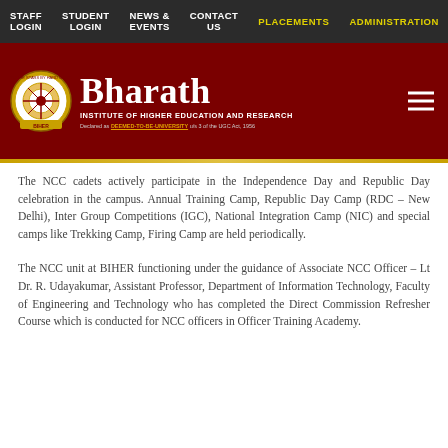STAFF LOGIN | STUDENT LOGIN | NEWS & EVENTS | CONTACT US | PLACEMENTS | ADMINISTRATION
[Figure (logo): Bharath Institute of Higher Education and Research logo and banner on dark red background]
The NCC cadets actively participate in the Independence Day and Republic Day celebration in the campus. Annual Training Camp, Republic Day Camp (RDC – New Delhi), Inter Group Competitions (IGC), National Integration Camp (NIC) and special camps like Trekking Camp, Firing Camp are held periodically.
The NCC unit at BIHER functioning under the guidance of Associate NCC Officer – Lt Dr. R. Udayakumar, Assistant Professor, Department of Information Technology, Faculty of Engineering and Technology who has completed the Direct Commission Refresher Course which is conducted for NCC officers in Officer Training Academy.